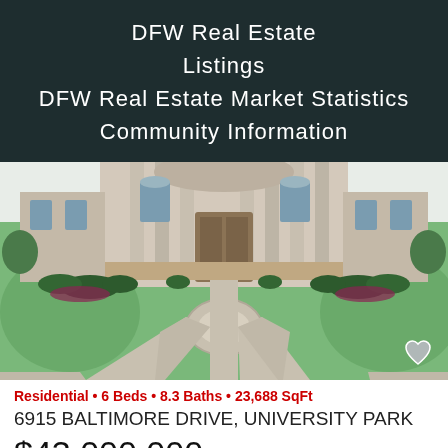DFW Real Estate Listings
DFW Real Estate Market Statistics
Community Information
[Figure (illustration): Architectural illustration of a large luxury estate home with grand columns, viewed from above, showing a circular driveway and manicured green lawns]
Residential • 6 Beds • 8.3 Baths • 23,688 SqFt
6915 BALTIMORE DRIVE, UNIVERSITY PARK
$43,000,000
20068088